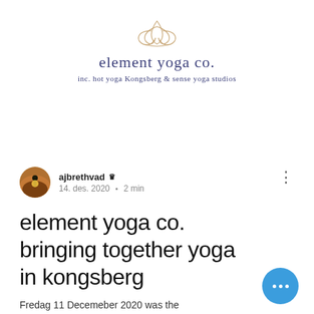[Figure (logo): Lotus flower outline logo in beige/tan color]
element yoga co.
inc. hot yoga Kongsberg & sense yoga studios
[Figure (photo): Circular avatar photo of a person silhouetted against a sunset]
ajbrethvad 👑 Admin
14. des. 2020 · 2 min
element yoga co. bringing together yoga in kongsberg
Fredag 11 Decemeber 2020 was the official media release of the new element